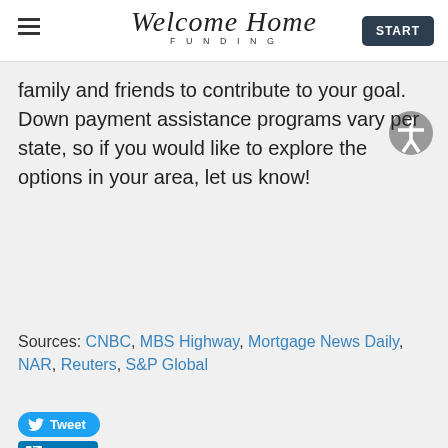Welcome Home Funding | START
family and friends to contribute to your goal. Down payment assistance programs vary per state, so if you would like to explore the options in your area, let us know!
Sources: CNBC, MBS Highway, Mortgage News Daily, NAR, Reuters, S&P Global
[Figure (other): Tweet and LinkedIn Share social media buttons]